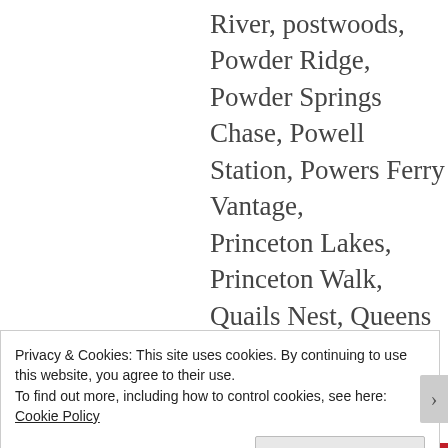River, postwoods, Powder Ridge, Powder Springs Chase, Powell Station, Powers Ferry Vantage, Princeton Lakes, Princeton Walk, Quails Nest, Queens Lake Estates,Red Rock, Red Rock Hills, Ridgewood Park, Riverhill, Riverwood, Rose Garden Hills,Russell Plantation, Saddleback Ridge, Salem Woods
Privacy & Cookies: This site uses cookies. By continuing to use this website, you agree to their use.
To find out more, including how to control cookies, see here: Cookie Policy
Close and accept